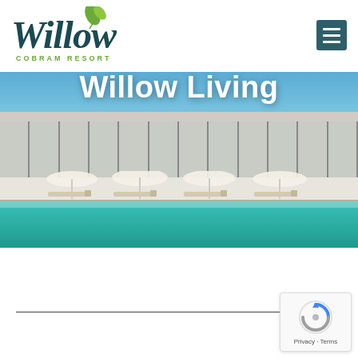[Figure (logo): Willow Cobram Resort logo — cursive 'Willow' in dark teal with a green leaf, 'COBRAM RESORT' in small green uppercase letters below]
[Figure (other): Dark teal hamburger menu button (three horizontal white bars) in top-right corner]
[Figure (photo): Hero photo of Willow Cobram Resort showing a modern building with floor-to-ceiling glass walls, outdoor pool with turquoise water, sun loungers and white umbrellas under a blue sky]
Willow Living
[Figure (other): Google reCAPTCHA badge with spinning arrow icon and 'Privacy · Terms' text]